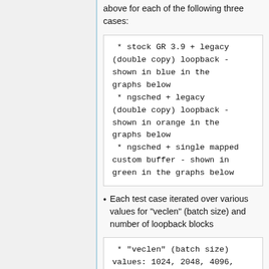above for each of the following three cases:
* stock GR 3.9 + legacy (double copy) loopback - shown in blue in the graphs below
 * ngsched + legacy (double copy) loopback - shown in orange in the graphs below
 * ngsched + single mapped custom buffer - shown in green in the graphs below
Each test case iterated over various values for "veclen" (batch size) and number of loopback blocks
* "veclen" (batch size) values: 1024, 2048, 4096, 8192, 16384, 32768